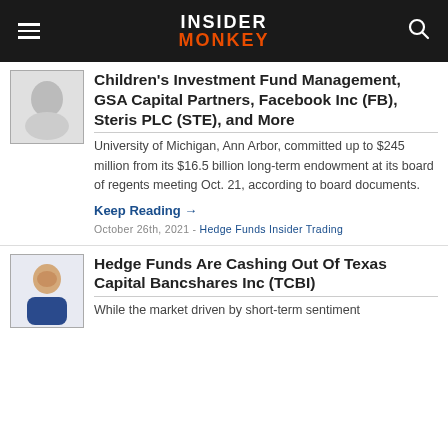Insider Monkey
Children's Investment Fund Management, GSA Capital Partners, Facebook Inc (FB), Steris PLC (STE), and More
University of Michigan, Ann Arbor, committed up to $245 million from its $16.5 billion long-term endowment at its board of regents meeting Oct. 21, according to board documents.
Keep Reading →
October 26th, 2021 - Hedge Funds Insider Trading
Hedge Funds Are Cashing Out Of Texas Capital Bancshares Inc (TCBI)
While the market driven by short-term sentiment